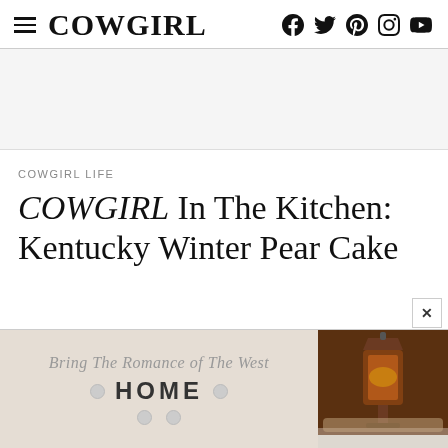COWGIRL
[Figure (screenshot): Gray advertisement/banner placeholder area]
COWGIRL LIFE
COWGIRL In The Kitchen: Kentucky Winter Pear Cake
[Figure (illustration): Advertisement banner with script text 'Bring The Romance of The West HOME' and an image of a decorative lamp/lantern on the right side]